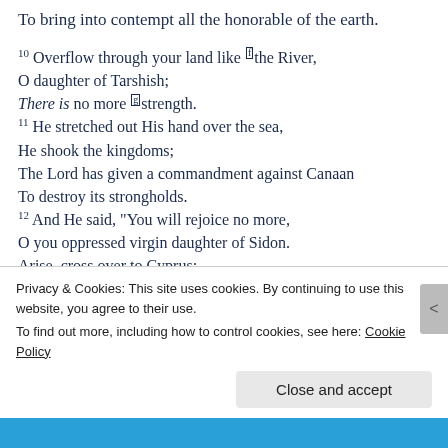To bring into contempt all the honorable of the earth.
10 Overflow through your land like [f]the River, O daughter of Tarshish; There is no more [g]strength. 11 He stretched out His hand over the sea, He shook the kingdoms; The Lord has given a commandment against Canaan To destroy its strongholds. 12 And He said, "You will rejoice no more, O you oppressed virgin daughter of Sidon. Arise, cross over to Cyprus; There also you will have no rest"
Privacy & Cookies: This site uses cookies. By continuing to use this website, you agree to their use. To find out more, including how to control cookies, see here: Cookie Policy
Close and accept